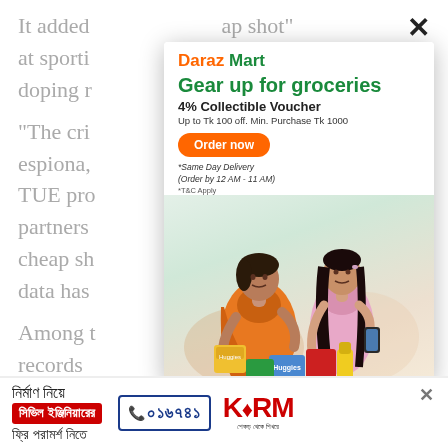It added ... ap shot" at sporti... anti-doping r...
"The cri... yber espiona,... ne the TUE pro... its partners... s a cheap sh... rsonal data has...
Among t... dical records... s Chris
[Figure (infographic): Daraz Mart advertisement modal showing 'Gear up for groceries', '4% Collectible Voucher', 'Up to Tk 100 off. Min. Purchase Tk 1000', 'Order now' button, '*Same Day Delivery (Order by 12 AM - 11 AM)', '*T&C Apply', with two women examining grocery products.]
[Figure (infographic): Bottom banner ad for KSRM with Bengali text 'নির্মাণ নিয়ে', 'সিভিল ইঞ্জিনিয়ারের', 'ফ্রি পরামর্শ নিতে', phone number ০১৬৭৪১, and KSRM logo with tagline 'শেকড় থেকে শিখরে'.]